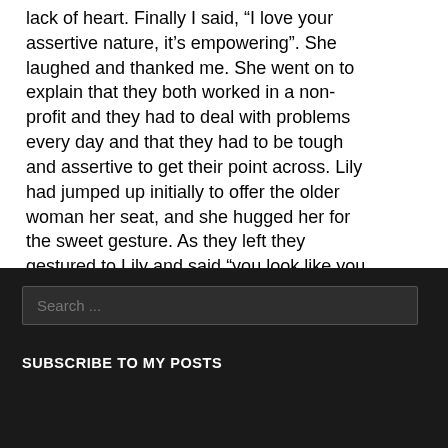lack of heart. Finally I said, “I love your assertive nature, it’s empowering”. She laughed and thanked me. She went on to explain that they both worked in a non-profit and they had to deal with problems every day and that they had to be tough and assertive to get their point across. Lily had jumped up initially to offer the older woman her seat, and she hugged her for the sweet gesture. As they left they gestured to Lily and said “you look like you are raising an assertive young lady also” and I must admit that I am:) Nice experience on the TTC.
Search ...
SUBSCRIBE TO MY POSTS